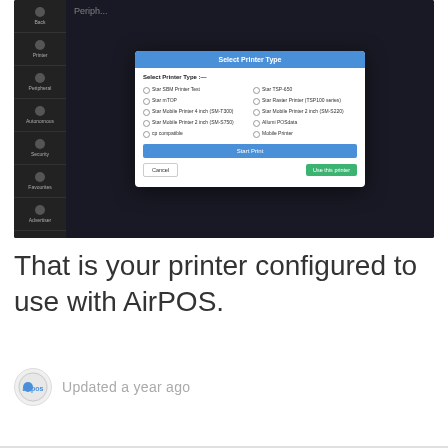[Figure (screenshot): Screenshot of AirPOS tablet interface showing a 'Select Printer Type' dialog box over the Peripherals settings screen. The dialog has a blue title bar, radio button options for various printer types (Star SBM Printer Test, Star TSP-650, Star mTOP, Star Raster Printer (TSP100 series), Star Mobile Printer 4 inch (SM-T300), Star Mobile Printer 2 inch (SM-S220), Star Mobile Printer 2 inch (SM-S750), Allumi POSdata, cp compatible, Mobile Printer), a blue 'Start Print' test button, a white 'Cancel' button, and a green 'Use this printer' button.]
That is your printer configured to use with AirPOS.
Updated a year ago